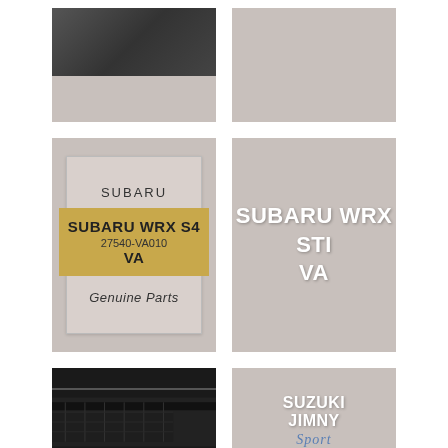[Figure (photo): Car interior photo - top left, partially visible]
[Figure (photo): Gray placeholder image - top right]
[Figure (illustration): Subaru WRX S4 Genuine Parts label card with gold band showing model SUBARU WRX S4 VA, part number 27540-VA010]
[Figure (illustration): Dark gray card showing SUBARU WRX STI VA text in white bold letters]
[Figure (photo): Interior photo of Subaru WRX VA showing dashboard and carbon fiber trim, with label SUBARU WRX VA and Japanese text]
[Figure (illustration): Suzuki Jimny JB64 card with Sport script logo and blue base text in Japanese, ブルーベース]